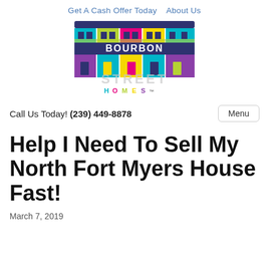Get A Cash Offer Today   About Us
[Figure (logo): Bourbon Street Homes logo featuring colorful row houses with the text BOURBON STREET HOMES]
Call Us Today! (239) 449-8878    Menu
Help I Need To Sell My North Fort Myers House Fast!
March 7, 2019